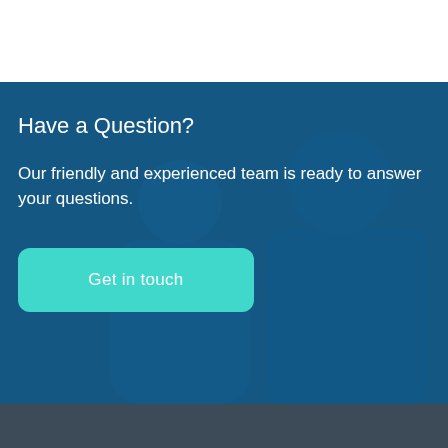[Figure (photo): Background photo of two smiling people (a woman and a man) with a blue overlay tint]
Have a Question?
Our friendly and experienced team is ready to answer your questions.
Get in touch